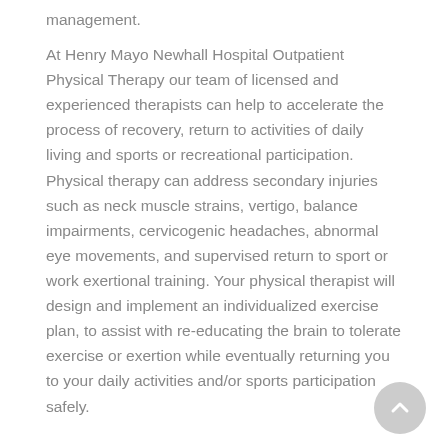management.
At Henry Mayo Newhall Hospital Outpatient Physical Therapy our team of licensed and experienced therapists can help to accelerate the process of recovery, return to activities of daily living and sports or recreational participation. Physical therapy can address secondary injuries such as neck muscle strains, vertigo, balance impairments, cervicogenic headaches, abnormal eye movements, and supervised return to sport or work exertional training. Your physical therapist will design and implement an individualized exercise plan, to assist with re-educating the brain to tolerate exercise or exertion while eventually returning you to your daily activities and/or sports participation safely.